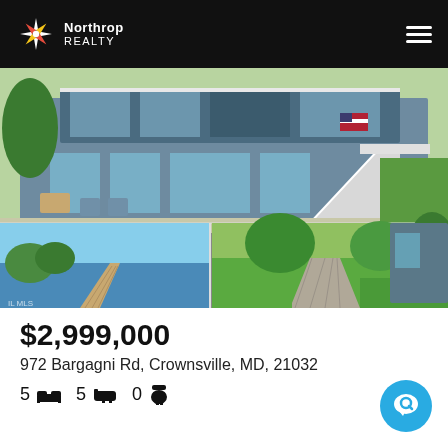Northrop Realty
[Figure (photo): Real estate listing photo collage: top image shows a large modern two-story home with wraparound deck and white railings; bottom left shows a waterfront dock view on a calm bay; bottom right shows a paved walkway leading up a landscaped lawn.]
$2,999,000
972 Bargagni Rd, Crownsville, MD, 21032
5 [bed] 5 [bath] 0 [toilet]